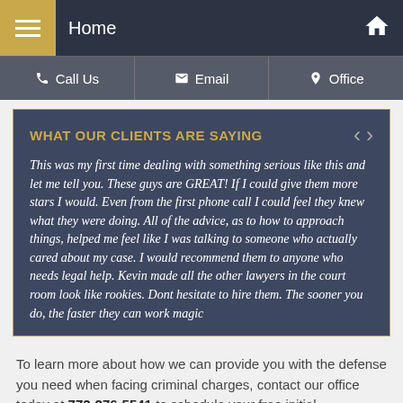Home
Call Us  |  Email  |  Office
WHAT OUR CLIENTS ARE SAYING
This was my first time dealing with something serious like this and let me tell you. These guys are GREAT! If I could give them more stars I would. Even from the first phone call I could feel they knew what they were doing. All of the advice, as to how to approach things, helped me feel like I was talking to someone who actually cared about my case. I would recommend them to anyone who needs legal help. Kevin made all the other lawyers in the court room look like rookies. Dont hesitate to hire them. The sooner you do, the faster they can work magic
To learn more about how we can provide you with the defense you need when facing criminal charges, contact our office today at 773-276-5541 to schedule your free initial